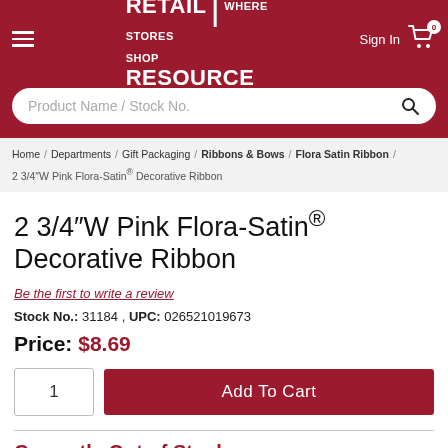RETAIL RESOURCE | WHERE STORES SHOP
Product Name / Stock No.
Home / Departments / Gift Packaging / Ribbons & Bows / Flora Satin Ribbon / 2 3/4"W Pink Flora-Satin® Decorative Ribbon
2 3/4"W Pink Flora-Satin® Decorative Ribbon
Be the first to write a review
Stock No.: 31184 , UPC: 026521019673
Price: $8.69
1  Add To Cart
Currently Out of Stock